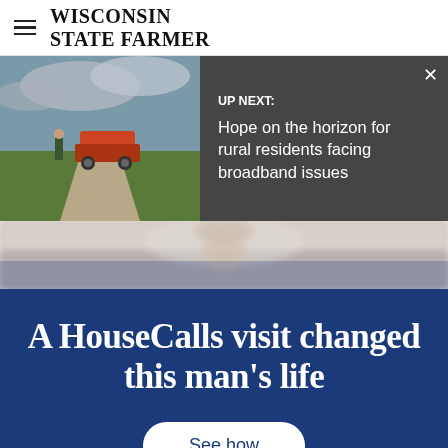WISCONSIN STATE FARMER
UP NEXT: Hope on the horizon for rural residents facing broadband issues
[Figure (photo): Photo of person with equipment/truck on a rural dirt road with green fields and cloudy sky]
[Figure (infographic): Advertisement banner with dark blue background reading 'A HouseCalls visit changed this man\'s life' with a 'See how' button]
A HouseCalls visit changed this man's life
See how